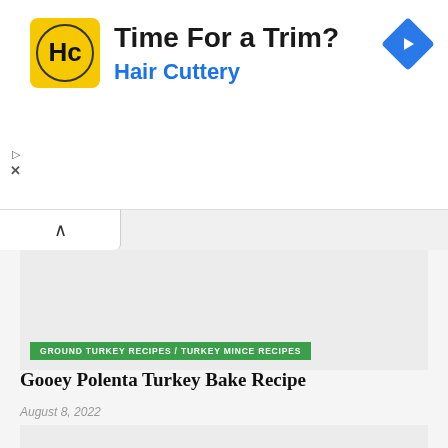[Figure (logo): Hair Cuttery advertisement banner with HC logo, 'Time For a Trim?' heading and 'Hair Cuttery' subtitle in blue, navigation diamond icon top right]
Time For a Trim?
Hair Cuttery
GROUND TURKEY RECIPES / TURKEY MINCE RECIPES
Gooey Polenta Turkey Bake Recipe
August 8, 2022